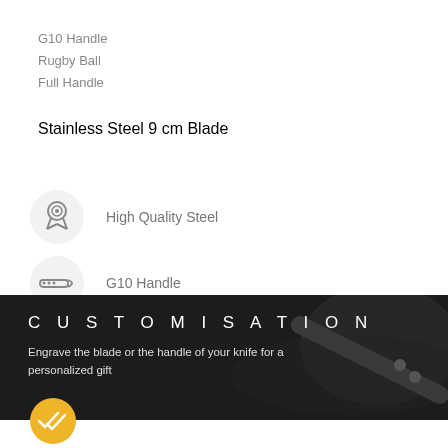G10 Handle
Rugby Ball
Full Handle
Stainless Steel
9 cm Blade
High Quality Steel
G10 Handle
[Figure (infographic): Dark banner with knife background image showing CUSTOMISATION heading and text about engraving]
CUSTOMISATION
Engrave the blade or the handle of your knife for a personalized gift
[Figure (illustration): Yellow circular badge with double checkmark icon]